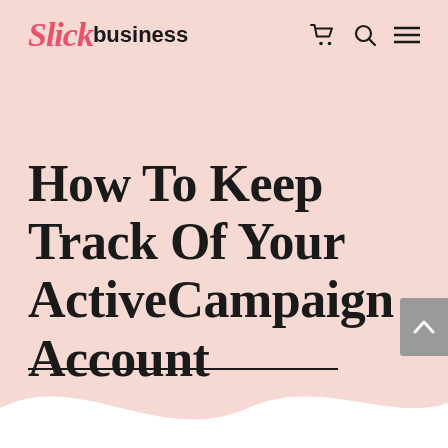Slick business
How To Keep Track Of Your ActiveCampaign Account